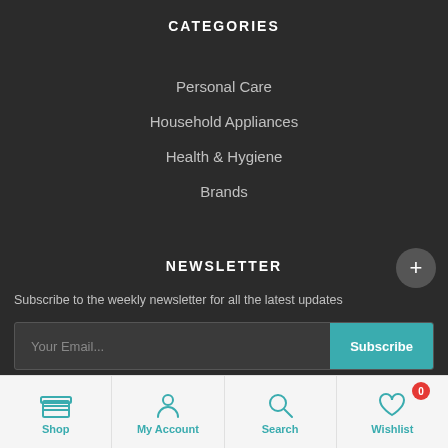CATEGORIES
Personal Care
Household Appliances
Health & Hygiene
Brands
NEWSLETTER
Subscribe to the weekly newsletter for all the latest updates
Your Email...
Subscribe
Shop   My Account   Search   Wishlist